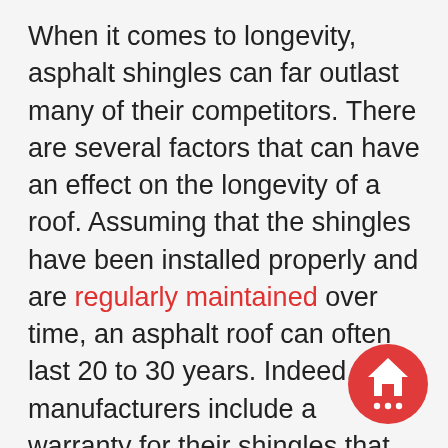When it comes to longevity, asphalt shingles can far outlast many of their competitors. There are several factors that can have an effect on the longevity of a roof. Assuming that the shingles have been installed properly and are regularly maintained over time, an asphalt roof can often last 20 to 30 years. Indeed, most manufacturers include a warranty for their shingles that lasts about that long.
There are several different types of roofing warranties, which you should discuss with your contractor. Some cover only the materials, while others cover the installation as well. Some extend for a fixed period, while
[Figure (illustration): Red circular chat button with a house icon and ellipsis (chat indicator), positioned in the bottom-right corner of the page.]